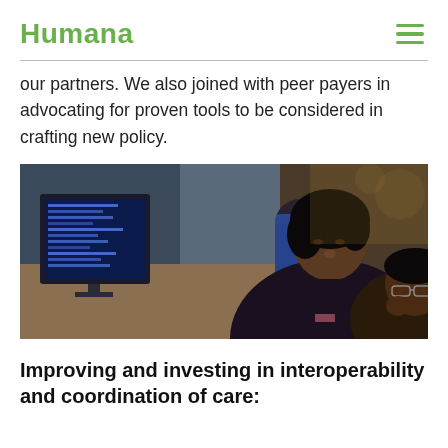Humana
our partners. We also joined with peer payers in advocating for proven tools to be considered in crafting new policy.
[Figure (photo): Two people, a woman and a man, looking at a computer screen together in an office environment. Other colleagues visible in the background.]
Improving and investing in interoperability and coordination of care: